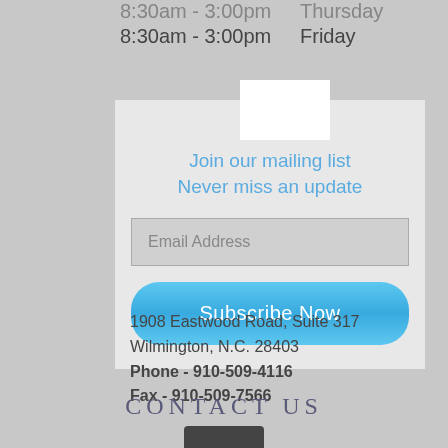8:30am - 3:00pm   Thursday
8:30am - 3:00pm   Friday
[Figure (infographic): White envelope icon representing mailing list signup]
Join our mailing list
Never miss an update
Email Address
Subscribe Now
1908 Eastwood Road, Suite 317
Wilmington, N.C. 28403
Phone - 910-509-4116
Fax - 910-509-7566
CONTACT US